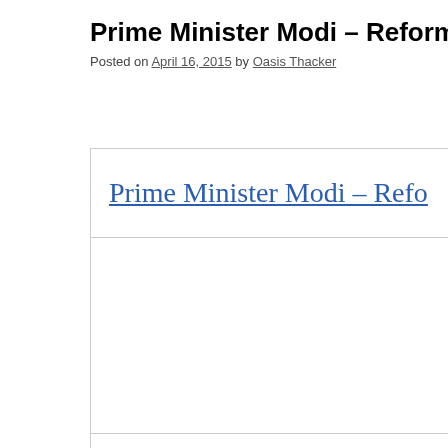Prime Minister Modi – Reformer in Chief -
Posted on April 16, 2015 by Oasis Thacker
Prime Minister Modi – Refo
[Figure (other): Blank image placeholder area within article content box]
Oasis Thacker